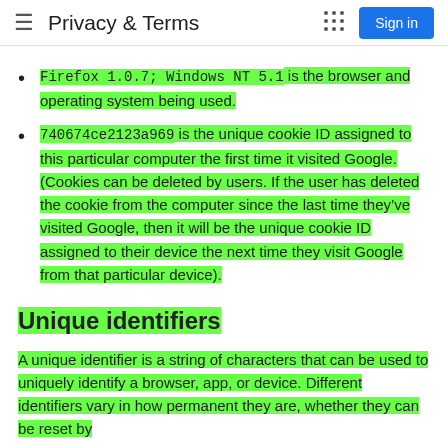Privacy & Terms
Firefox 1.0.7; Windows NT 5.1 is the browser and operating system being used.
740674ce2123a969 is the unique cookie ID assigned to this particular computer the first time it visited Google. (Cookies can be deleted by users. If the user has deleted the cookie from the computer since the last time they’ve visited Google, then it will be the unique cookie ID assigned to their device the next time they visit Google from that particular device).
Unique identifiers
A unique identifier is a string of characters that can be used to uniquely identify a browser, app, or device. Different identifiers vary in how permanent they are, whether they can be reset by